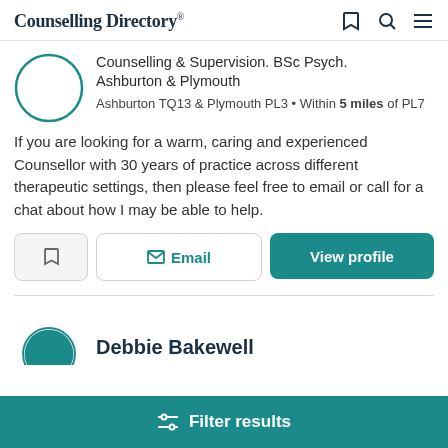Counselling Directory
Counselling & Supervision. BSc Psych. Ashburton & Plymouth
Ashburton TQ13 & Plymouth PL3 • Within 5 miles of PL7
If you are looking for a warm, caring and experienced Counsellor with 30 years of practice across different therapeutic settings, then please feel free to email or call for a chat about how I may be able to help.
Email
View profile
Debbie Bakewell
Filter results